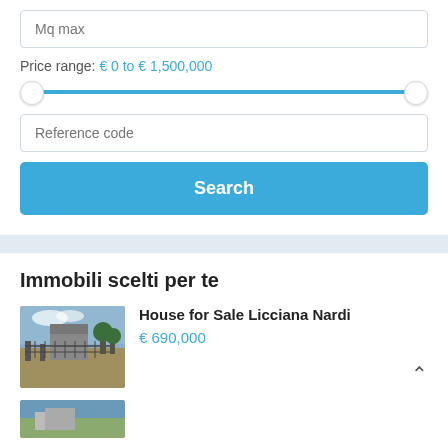Mq max
Price range: € 0 to € 1,500,000
[Figure (other): Price range slider from €0 to €1,500,000 with two circle handles at each end of a blue track]
Reference code
Search
Immobili scelti per te
House for Sale Licciana Nardi
€ 690,000
[Figure (photo): Photo of a house with a gate and trees, outdoor scene]
[Figure (photo): Partial photo of a property, bottom of page]